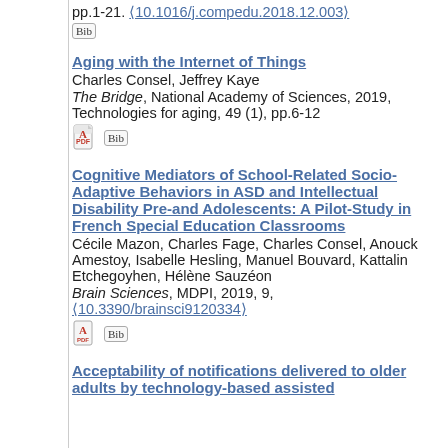pp.1-21. ⟨10.1016/j.compedu.2018.12.003⟩
[Bib]
Aging with the Internet of Things
Charles Consel, Jeffrey Kaye
The Bridge, National Academy of Sciences, 2019, Technologies for aging, 49 (1), pp.6-12
[PDF] [Bib]
Cognitive Mediators of School-Related Socio- Adaptive Behaviors in ASD and Intellectual Disability Pre-and Adolescents: A Pilot-Study in French Special Education Classrooms
Cécile Mazon, Charles Fage, Charles Consel, Anouck Amestoy, Isabelle Hesling, Manuel Bouvard, Kattalin Etchegoyhen, Hélène Sauzéon
Brain Sciences, MDPI, 2019, 9, ⟨10.3390/brainsci9120334⟩
[PDF] [Bib]
Acceptability of notifications delivered to older adults by technology-based assisted